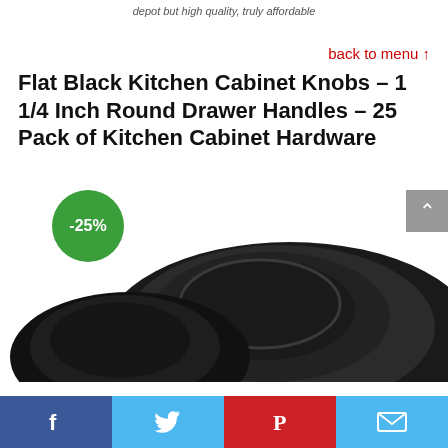depot but high quality, truly affordable
back to menu ↑
Flat Black Kitchen Cabinet Knobs – 1 1/4 Inch Round Drawer Handles – 25 Pack of Kitchen Cabinet Hardware
[Figure (photo): Close-up photo of flat black round cabinet knobs with a -25% discount badge in green circle on the left, and a scroll-up button in grey on the right.]
Social share bar: Facebook, Twitter, Pinterest, Email